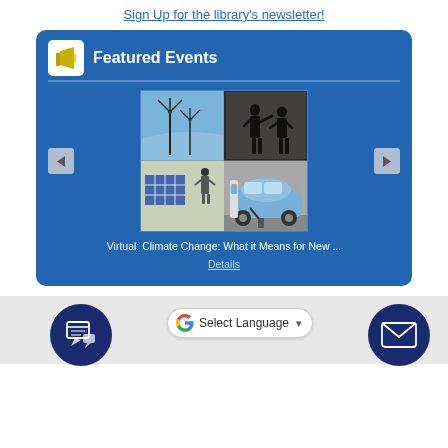Sign Up for the library's newsletter!
Featured Events
[Figure (photo): Collage of climate change images: wind turbines and two silhouetted figures (top), solar panel with person and electric car charging (bottom left and right)]
Virtual: Climate Change: What it Means for New ...
Details
[Figure (illustration): Dark blue circle icon with a mobile device and speech bubbles graphic]
[Figure (other): Google Select Language widget with Google G logo and dropdown arrow]
[Figure (illustration): Dark blue circle icon with an envelope/email graphic (partially visible)]